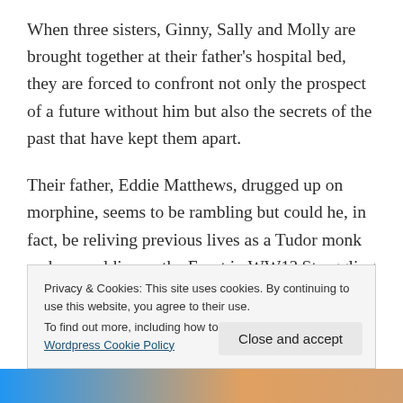When three sisters, Ginny, Sally and Molly are brought together at their father's hospital bed, they are forced to confront not only the prospect of a future without him but also the secrets of the past that have kept them apart.
Their father, Eddie Matthews, drugged up on morphine, seems to be rambling but could he, in fact, be reliving previous lives as a Tudor monk and as a soldier on the Front in WW1? Struggling to speak he reveals that he has a secret and urges his daughters to ‘Find Rose’. Can
Privacy & Cookies: This site uses cookies. By continuing to use this website, you agree to their use.
To find out more, including how to control cookies, see here: Wordpress Cookie Policy
Close and accept